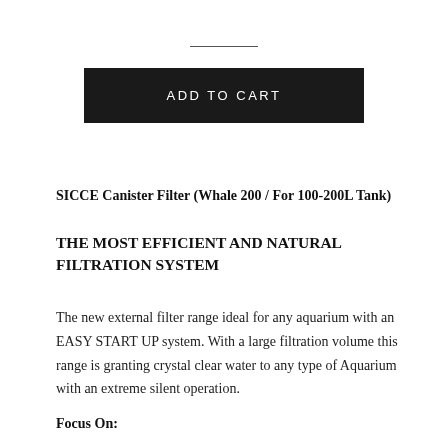ADD TO CART
SICCE Canister Filter (Whale 200 / For 100-200L Tank)
THE MOST EFFICIENT AND NATURAL FILTRATION SYSTEM
The new external filter range ideal for any aquarium with an EASY START UP system. With a large filtration volume this range is granting crystal clear water to any type of Aquarium with an extreme silent operation.
Focus On: